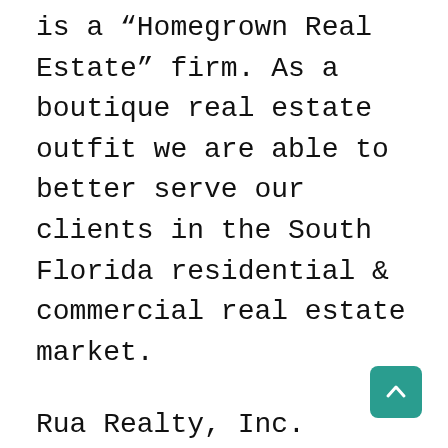is a “Homegrown Real Estate” firm. As a boutique real estate outfit we are able to better serve our clients in the South Florida residential & commercial real estate market.
Rua Realty, Inc. prides itself on facilitating real estate transactions for buyers and sellers, making it a smooth, enjoyable, and seamless